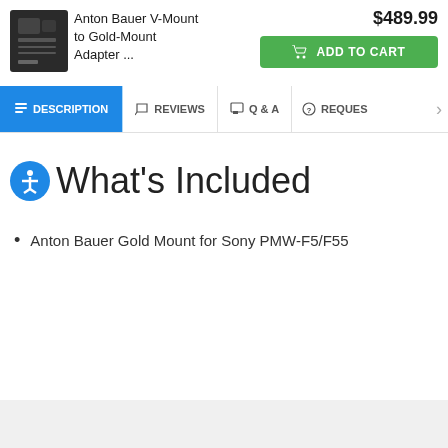[Figure (photo): Anton Bauer V-Mount to Gold-Mount Adapter product image — black rectangular electronic component]
Anton Bauer V-Mount to Gold-Mount Adapter ...
$489.99
ADD TO CART
DESCRIPTION
REVIEWS
Q & A
REQUES
What's Included
Anton Bauer Gold Mount for Sony PMW-F5/F55